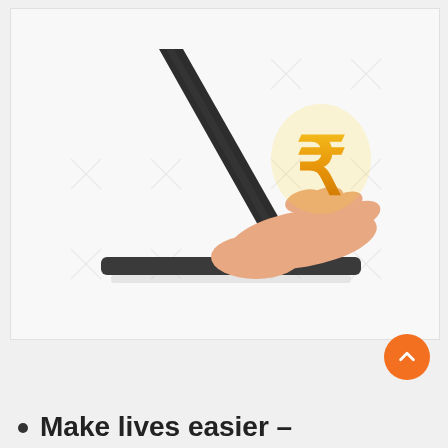[Figure (illustration): Illustration of a laptop with a hand emerging from the screen holding a golden Indian Rupee symbol, on a light gray background with watermark X patterns.]
Make lives easier –